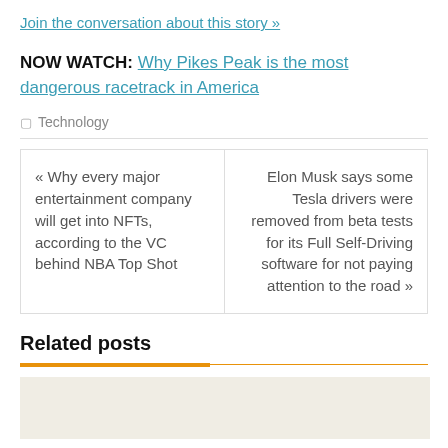Join the conversation about this story »
NOW WATCH: Why Pikes Peak is the most dangerous racetrack in America
Technology
« Why every major entertainment company will get into NFTs, according to the VC behind NBA Top Shot
Elon Musk says some Tesla drivers were removed from beta tests for its Full Self-Driving software for not paying attention to the road »
Related posts
[Figure (photo): Thumbnail image placeholder for related post]